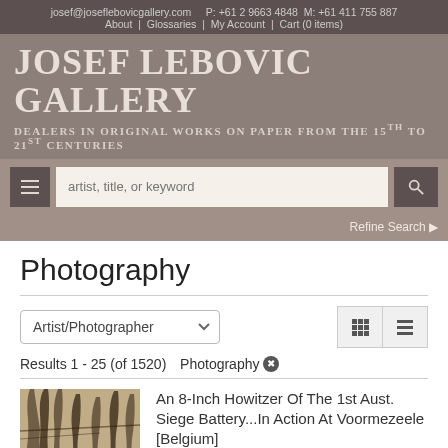josef@joseflebovicgallery.com  P: +61 2 9663 4848 M: +61 411 755 887  About | Glossaries | My Account | Cart (0 items)
JOSEF LEBOVIC GALLERY
DEALERS IN ORIGINAL WORKS ON PAPER FROM THE 15TH TO 21ST CENTURIES
artist, title, or keyword  Refine Search
Photography
Artist/Photographer
Results 1 - 25 (of 1520)  Photography ✕
An 8-Inch Howitzer Of The 1st Aust. Siege Battery...In Action At Voormezeele [Belgium]
[Figure (photo): Sepia-toned historical photograph showing artillery scene with bare trees in background]